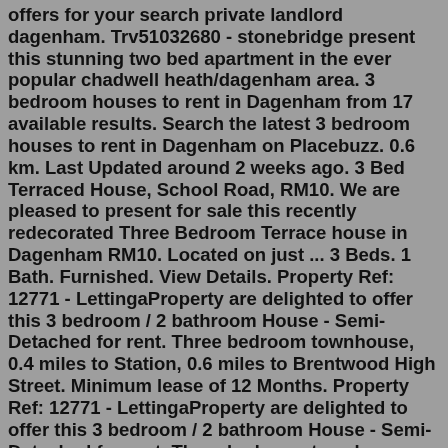offers for your search private landlord dagenham. Trv51032680 - stonebridge present this stunning two bed apartment in the ever popular chadwell heath/dagenham area. 3 bedroom houses to rent in Dagenham from 17 available results. Search the latest 3 bedroom houses to rent in Dagenham on Placebuzz. 0.6 km. Last Updated around 2 weeks ago. 3 Bed Terraced House, School Road, RM10. We are pleased to present for sale this recently redecorated Three Bedroom Terrace house in Dagenham RM10. Located on just ... 3 Beds. 1 Bath. Furnished. View Details. Property Ref: 12771 - LettingaProperty are delighted to offer this 3 bedroom / 2 bathroom House - Semi-Detached for rent. Three bedroom townhouse, 0.4 miles to Station, 0.6 miles to Brentwood High Street. Minimum lease of 12 Months. Property Ref: 12771 - LettingaProperty are delighted to offer this 3 bedroom / 2 bathroom House - Semi-Detached for rent. Three bedroom townhouse, 0.4 miles to Station, 0.6 miles to Brentwood High Street. Minimum lease of 12 Months. 3 bedroom terraced house for rent Well